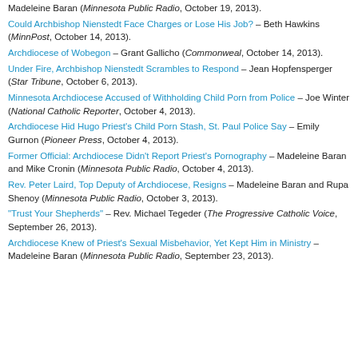Madeleine Baran (Minnesota Public Radio, October 19, 2013).
Could Archbishop Nienstedt Face Charges or Lose His Job? – Beth Hawkins (MinnPost, October 14, 2013).
Archdiocese of Wobegon – Grant Gallicho (Commonweal, October 14, 2013).
Under Fire, Archbishop Nienstedt Scrambles to Respond – Jean Hopfensperger (Star Tribune, October 6, 2013).
Minnesota Archdiocese Accused of Withholding Child Porn from Police – Joe Winter (National Catholic Reporter, October 4, 2013).
Archdiocese Hid Hugo Priest's Child Porn Stash, St. Paul Police Say – Emily Gurnon (Pioneer Press, October 4, 2013).
Former Official: Archdiocese Didn't Report Priest's Pornography – Madeleine Baran and Mike Cronin (Minnesota Public Radio, October 4, 2013).
Rev. Peter Laird, Top Deputy of Archdiocese, Resigns – Madeleine Baran and Rupa Shenoy (Minnesota Public Radio, October 3, 2013).
"Trust Your Shepherds" – Rev. Michael Tegeder (The Progressive Catholic Voice, September 26, 2013).
Archdiocese Knew of Priest's Sexual Misbehavior, Yet Kept Him in Ministry – Madeleine Baran (Minnesota Public Radio, September 23, 2013).